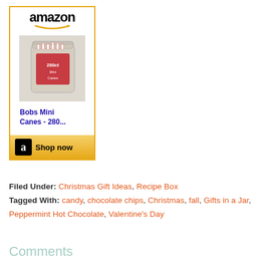[Figure (screenshot): Amazon product widget showing 'Bobs Mini Canes - 280...' with a shop now button]
Filed Under: Christmas Gift Ideas, Recipe Box
Tagged With: candy, chocolate chips, Christmas, fall, Gifts in a Jar, Peppermint Hot Chocolate, Valentine's Day
Comments